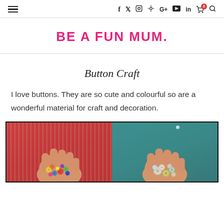≡  f  twitter  instagram  pinterest  G+  youtube  in  cart(0)  search
BE A FUN MUM.
Button Craft
I love buttons. They are so cute and colourful so are a wonderful material for craft and decoration.
[Figure (photo): Two hands holding colourful buttons — left hand holds multicoloured assorted buttons against a red/pink background, right hand holds mostly muted/pastel buttons against a teal background.]